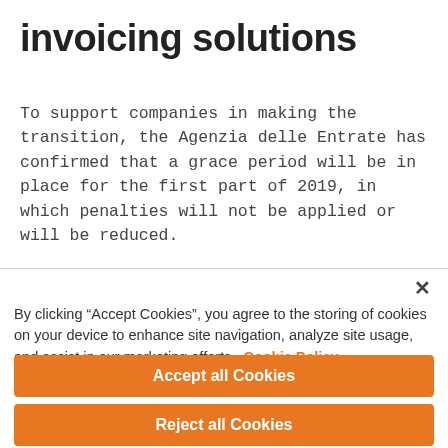invoicing solutions
To support companies in making the transition, the Agenzia delle Entrate has confirmed that a grace period will be in place for the first part of 2019, in which penalties will not be applied or will be reduced.
By clicking “Accept Cookies”, you agree to the storing of cookies on your device to enhance site navigation, analyze site usage, and assist in our marketing efforts.  Cookie Policy
Accept all Cookies
Reject all Cookies
Cookies Settings